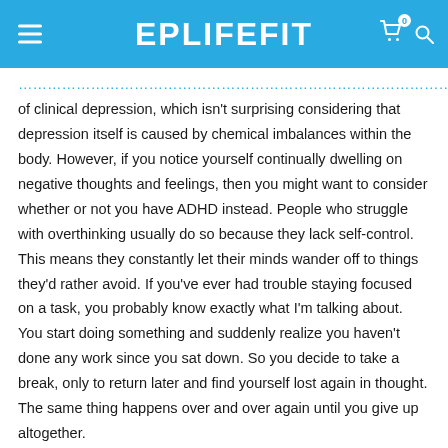EPLIFEFIT
of clinical depression, which isn't surprising considering that depression itself is caused by chemical imbalances within the body. However, if you notice yourself continually dwelling on negative thoughts and feelings, then you might want to consider whether or not you have ADHD instead. People who struggle with overthinking usually do so because they lack self-control. This means they constantly let their minds wander off to things they'd rather avoid. If you've ever had trouble staying focused on a task, you probably know exactly what I'm talking about. You start doing something and suddenly realize you haven't done any work since you sat down. So you decide to take a break, only to return later and find yourself lost again in thought. The same thing happens over and over again until you give up altogether.
If you're prone to overthinking, you need to develop better discipline with your mind. Many sufferers find that meditation